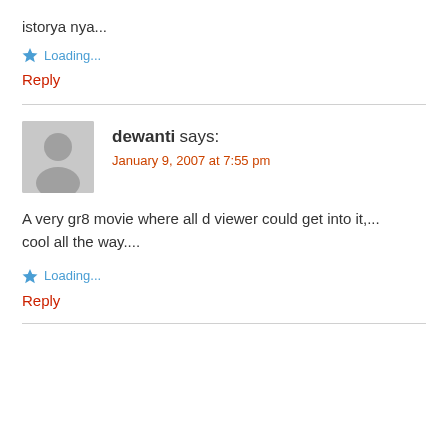istorya nya...
Loading...
Reply
dewanti says:
January 9, 2007 at 7:55 pm
A very gr8 movie where all d viewer could get into it,... cool all the way....
Loading...
Reply